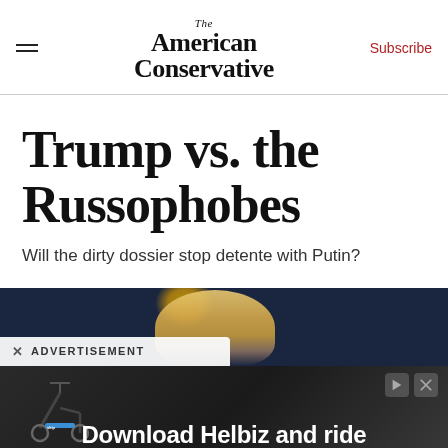The American Conservative | Subscribe
Trump vs. the Russophobes
Will the dirty dossier stop detente with Putin?
[Figure (photo): Dark background photo of a person (Trump) partially visible, with advertisement overlay reading 'ADVERTISEMENT' and a banner ad for 'Download Helbiz and ride']